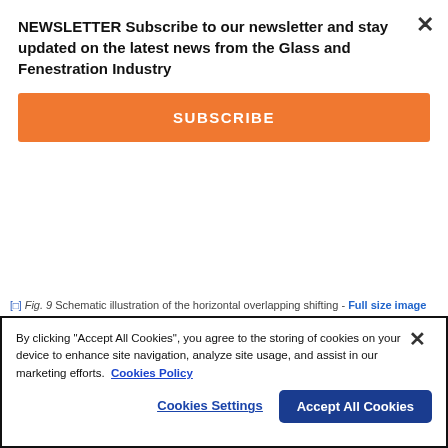NEWSLETTER Subscribe to our newsletter and stay updated on the latest news from the Glass and Fenestration Industry
SUBSCRIBE
Fig. 9 Schematic illustration of the horizontal overlapping shifting - Full size image
[Figure (illustration): Data Augmentation figure showing Original Image, Mask-Image, and Flip columns with greyscale city images with purple element]
By clicking "Accept All Cookies", you agree to the storing of cookies on your device to enhance site navigation, analyze site usage, and assist in our marketing efforts. Cookies Policy
Cookies Settings
Accept All Cookies